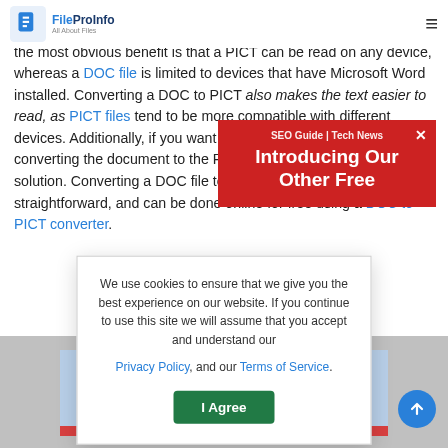FileProInfo – All About Files | SEO Guide | Tech News
There are many benefits to converting a DOC file to PICT. Perhaps the most obvious benefit is that a PICT can be read on any device, whereas a DOC file is limited to devices that have Microsoft Word installed. Converting a DOC to PICT also makes the text easier to read, as PICT files tend to be more compatible with different devices. Additionally, if you want to share changes to a document, converting the document to the PICT format than can be a great solution. Converting a DOC file to PICT is simple and straightforward, and can be done online for free using a DOC to PICT converter.
[Figure (screenshot): Cookie consent modal overlay with text: 'We use cookies to ensure that we give you the best experience on our website. If you continue to use this site we will assume that you accept and understand our Privacy Policy, and our Terms of Service.' with an 'I Agree' button]
[Figure (screenshot): Red promotional banner overlay: 'SEO Guide | Tech News' with heading 'Introducing Our Other Free' and a close (X) button]
[Figure (illustration): Bottom section showing document conversion illustration with grey background and blue/red document icons]